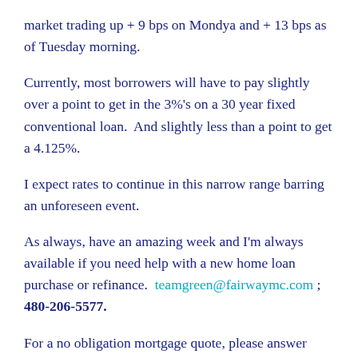market trading up + 9 bps on Mondya and + 13 bps as of Tuesday morning.
Currently, most borrowers will have to pay slightly over a point to get in the 3%'s on a 30 year fixed conventional loan.  And slightly less than a point to get a 4.125%.
I expect rates to continue in this narrow range barring an unforeseen event.
As always, have an amazing week and I'm always available if you need help with a new home loan purchase or refinance.  teamgreen@fairwaymc.com ; 480-206-5577.
For a no obligation mortgage quote, please answer